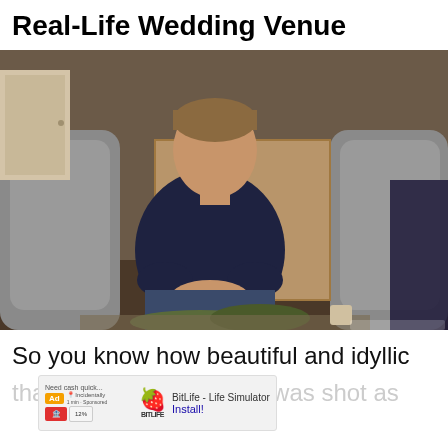Real-Life Wedding Venue
[Figure (photo): A man in a dark navy long-sleeve shirt sits leaning forward with hands clasped, between two grey wingback chairs in a living room setting. A wooden cabinet and succulent plants are visible in the background.]
So you know how beautiful and idyllic
[Figure (screenshot): Mobile advertisement overlay for BitLife - Life Simulator app with 'Ad' label badge on the left and BitLife logo (yellow emoji face with sperm icon) on the right. Text reads 'Need cash quick...' at top, 'BitLife - Life Simulator' and 'Install!' on right side.]
that [ad obscuring] was shot as